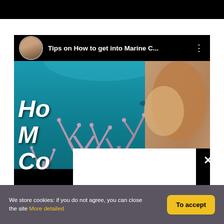[Figure (screenshot): Black top bar of a webpage]
[Figure (screenshot): YouTube-style video thumbnail with marine/coral reef underwater scene, showing a woman's face partially visible on the right side, overlaid text 'Ho...' 'M...' 'Co' in large white italic bold letters, a video header showing avatar, title 'Tips on How to get into Marine C...' and three-dot menu, a white popup box overlaying the center-left portion with a black X close button]
We store cookies: if you do not agree, you can close the site More detailed
To accept